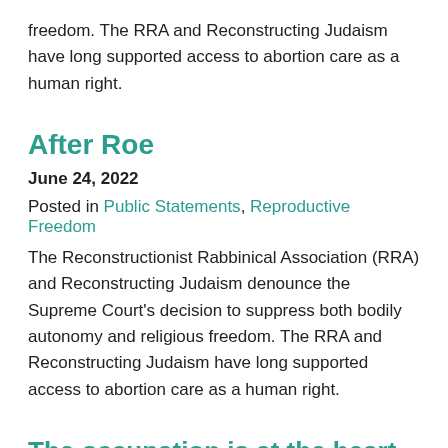freedom. The RRA and Reconstructing Judaism have long supported access to abortion care as a human right.
After Roe
June 24, 2022
Posted in Public Statements, Reproductive Freedom
The Reconstructionist Rabbinical Association (RRA) and Reconstructing Judaism denounce the Supreme Court's decision to suppress both bodily autonomy and religious freedom. The RRA and Reconstructing Judaism have long supported access to abortion care as a human right.
The occupation is at the heart of the stream of painful headlines coming from Israel